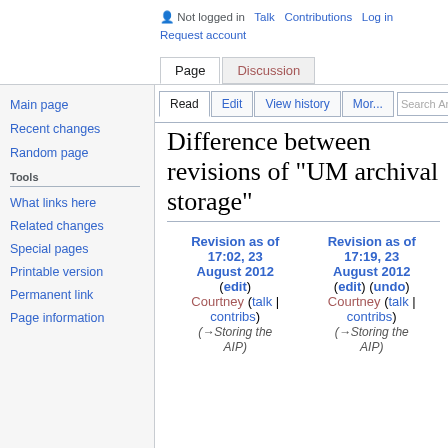Not logged in  Talk  Contributions  Log in  Request account
Page  Discussion
Read  Edit  View history  More  Search Ar
Main page
Recent changes
Random page
Tools
What links here
Related changes
Special pages
Printable version
Permanent link
Page information
Difference between revisions of "UM archival storage"
| Revision as of 17:02, 23 August 2012 (edit) Courtney (talk | contribs) (→Storing the AIP) | Revision as of 17:19, 23 August 2012 (edit) (undo) Courtney (talk | contribs) (→Storing the AIP) |
| --- | --- |